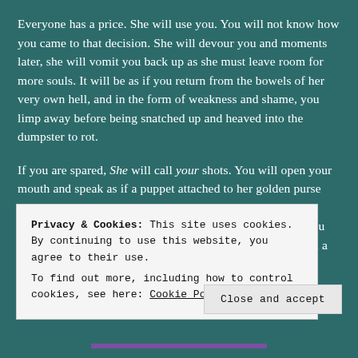Everyone has a price. She will use you. You will not know how you came to that decision. She will devour you and moments later, she will vomit you back up as she must leave room for more souls. It will be as if you return from the bowels of her very own hell, and in the form of weakness and shame, you limp away before being snatched up and heaved into the dumpster to rot.
If you are spared, She will call your shots. You will open your mouth and speak as if a puppet attached to her golden purse strings. You will be victimized and angry. People will talk about you. They will murmur how shocked they are that you have breached all lines of ethics and morality. You will feel a ting of r... P... d...
Privacy & Cookies: This site uses cookies. By continuing to use this website, you agree to their use.
To find out more, including how to control cookies, see here: Cookie Policy
Close and accept